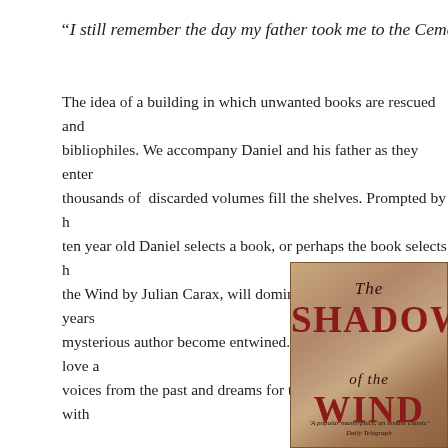“I still remember the day my father took me to the Cemetery of
The idea of a building in which unwanted books are rescued and bibliophiles. We accompany Daniel and his father as they enter thousands of discarded volumes fill the shelves. Prompted by h ten year old Daniel selects a book, or perhaps the book selects h the Wind by Julian Carax, will dominate his life for many years mysterious author become entwined. Secrets and intrigue, love a voices from the past and dreams for the future in this story with
[Figure (illustration): Book cover of 'The Shadow of the Wind' showing sepia-toned cover with title text in dark red/maroon. 'The' and 'of the' in italic script, 'SHADOW' and 'WIND' in large bold serif letters. Quote reading 'A popular masterpiece, an instant classic' Daily Telegraph at the bottom.]